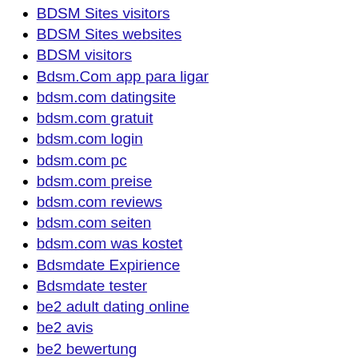BDSM Sites visitors
BDSM Sites websites
BDSM visitors
Bdsm.Com app para ligar
bdsm.com datingsite
bdsm.com gratuit
bdsm.com login
bdsm.com pc
bdsm.com preise
bdsm.com reviews
bdsm.com seiten
bdsm.com was kostet
Bdsmdate Expirience
Bdsmdate tester
be2 adult dating online
be2 avis
be2 bewertung
be2 como funciona
be2 de bewertung
be2 incontrare la gente
be2 italia
be2 mobile site
be2 review
be2 seiten